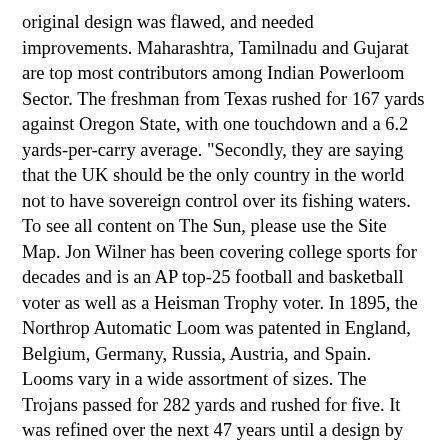original design was flawed, and needed improvements. Maharashtra, Tamilnadu and Gujarat are top most contributors among Indian Powerloom Sector. The freshman from Texas rushed for 167 yards against Oregon State, with one touchdown and a 6.2 yards-per-carry average. "Secondly, they are saying that the UK should be the only country in the world not to have sovereign control over its fishing waters. To see all content on The Sun, please use the Site Map. Jon Wilner has been covering college sports for decades and is an AP top-25 football and basketball voter as well as a Heisman Trophy voter. In 1895, the Northrop Automatic Loom was patented in England, Belgium, Germany, Russia, Austria, and Spain. Looms vary in a wide assortment of sizes. The Trojans passed for 282 yards and rushed for five. It was refined over the next 47 years until a design by Kenworthy and Bullough made the operation completely automatic. German chancellor Angela Merkel stressed the importance of the "level playing field" to protect the EU's single market - the rules governing trade in the bloc. Then again, a few of those ineligible receiver downfield calls looked suspicious. "I don't believe that those are terms that any prime minister of this country should accept. Both Number 10 and the EU Commission confirmed the news yesterday evening, explaining that a crunch dinner was being held to discuss the future relationship between the UK and the EU. She told the parliament in Berlin: "We must have a level playing field not just for today, but we must have one for tomorrow or the